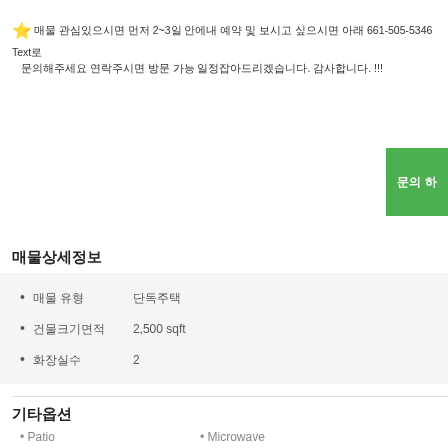⭐ [Korean text] 2~3일 [Korean text] 661-505-5346 Text로 [Korean text]
[Figure (other): Green button with Korean text (문의하기 or similar)]
매물상세정보
매물 유형: 단독주택
건물크기면적: 2,500 sqft
화장실: 2
기타옵션
Patio
Microwave